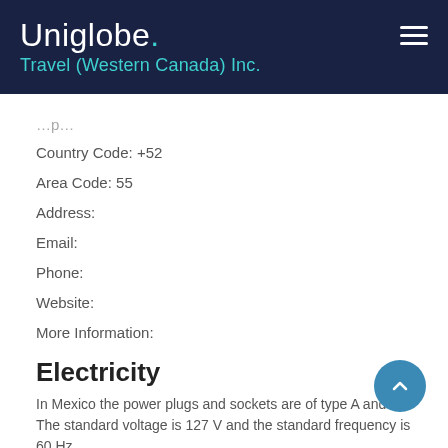Uniglobe. Travel (Western Canada) Inc.
Country Code: +52
Area Code: 55
Address:
Email:
Phone:
Website:
More Information:
Electricity
In Mexico the power plugs and sockets are of type A and B. The standard voltage is 127 V and the standard frequency is 60 Hz.